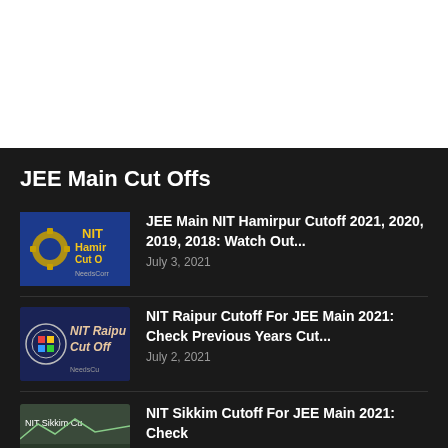JEE Main Cut Offs
[Figure (illustration): NIT Hamirpur Cut Off thumbnail with blue background and NIT Hamirpur logo]
JEE Main NIT Hamirpur Cutoff 2021, 2020, 2019, 2018: Watch Out...
July 3, 2021
[Figure (illustration): NIT Raipur Cut Off thumbnail with dark blue background and NIT Raipur logo]
NIT Raipur Cutoff For JEE Main 2021: Check Previous Years Cut...
July 2, 2021
[Figure (illustration): NIT Sikkim Cut thumbnail]
NIT Sikkim Cutoff For JEE Main 2021: Check